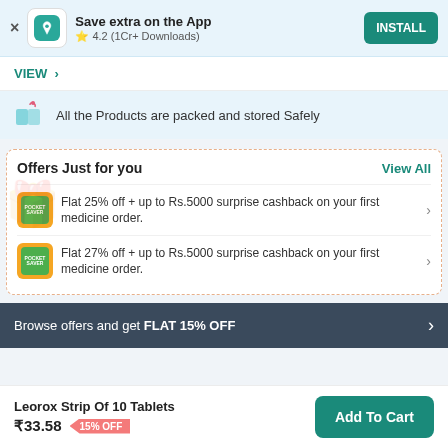Save extra on the App | 4.2 (1Cr+ Downloads) | INSTALL
VIEW >
All the Products are packed and stored Safely
Offers Just for you
View All
Flat 25% off + up to Rs.5000 surprise cashback on your first medicine order.
Flat 27% off + up to Rs.5000 surprise cashback on your first medicine order.
Browse offers and get FLAT 15% OFF
Leorox Strip Of 10 Tablets
₹33.58  15% OFF
Add To Cart